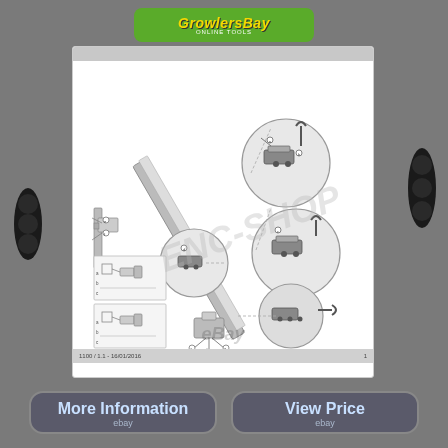[Figure (logo): GrowlersBay online store logo with green rounded rectangle background and yellow italic text]
[Figure (engineering-diagram): Technical exploded/assembly diagram showing mechanical component with multiple detail callout circles illustrating step-by-step assembly stages. Watermarked with eBay text. Small schematic sub-diagrams in bottom left corner. Footer bar with document reference number and page number 1.]
More Information
ebay
View Price
ebay